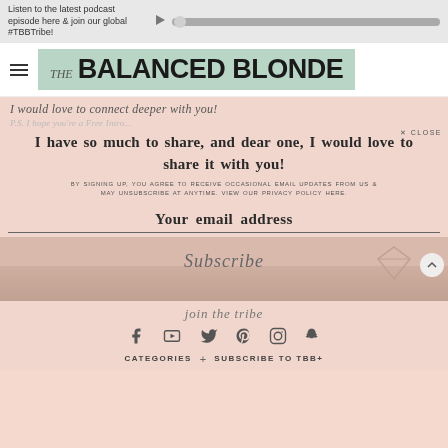Listen to the latest podcast episode here & join our global #TBBTribe!
[Figure (logo): The Balanced Blonde logo with hamburger menu on teal/mint background]
I would love to connect deeper with you!
P.S. I hope you're a Free Intro...
I have so much to share, and dear one, I would love to share it with you!
BY SIGNING UP, YOU AGREE TO RECEIVE OCCASIONAL EMAIL UPDATES FROM US & MAY UNSUBSCRIBE AT ANYTIME. VIEW OUR PRIVACY POLICY HERE.
Your email address
[Figure (screenshot): Subscribe button with cursive Subscribe text and diamond/gem shape]
join the tribe
[Figure (infographic): Social media icons row: Facebook, YouTube, Twitter, Pinterest, Instagram, Snapchat]
CATEGORIES + SUBSCRIBE TO TBB+